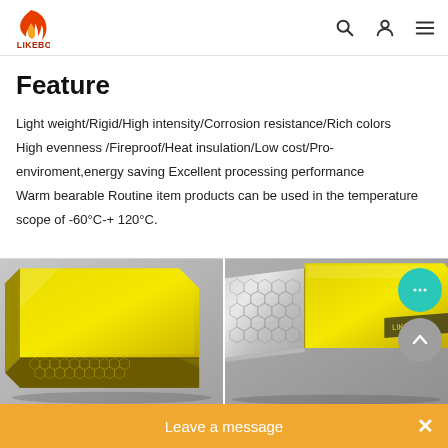LIKEBOND
Feature
Light weight/Rigid/High intensity/Corrosion resistance/Rich colors
High evenness /Fireproof/Heat insulation/Low cost/Pro-enviroment,energy saving Excellent processing performance
Warm bearable Routine item products can be used in the temperature scope of -60°C-+ 120°C.
[Figure (photo): Two product images of yellow honeycomb composite panels showing cross-section structure with metallic honeycomb core]
Leave a message